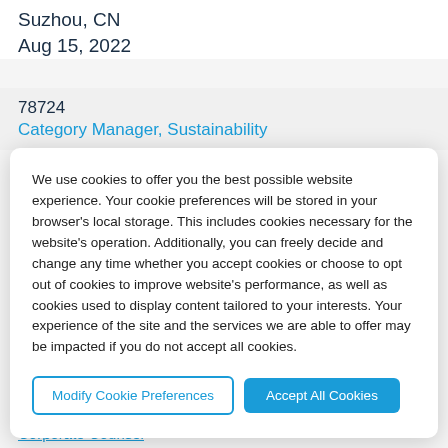Suzhou, CN
Aug 15, 2022
78724
Category Manager, Sustainability
We use cookies to offer you the best possible website experience. Your cookie preferences will be stored in your browser's local storage. This includes cookies necessary for the website's operation. Additionally, you can freely decide and change any time whether you accept cookies or choose to opt out of cookies to improve website's performance, as well as cookies used to display content tailored to your interests. Your experience of the site and the services we are able to offer may be impacted if you do not accept all cookies.
Modify Cookie Preferences
Accept All Cookies
Corporate Counsel